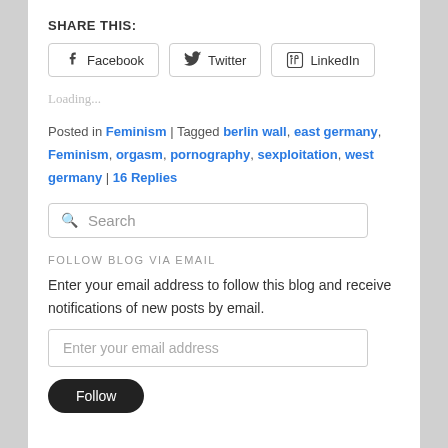SHARE THIS:
[Figure (other): Share buttons for Facebook, Twitter, and LinkedIn]
Loading...
Posted in Feminism | Tagged berlin wall, east germany, Feminism, orgasm, pornography, sexploitation, west germany | 16 Replies
[Figure (other): Search input box]
FOLLOW BLOG VIA EMAIL
Enter your email address to follow this blog and receive notifications of new posts by email.
[Figure (other): Email address input field and Follow button]